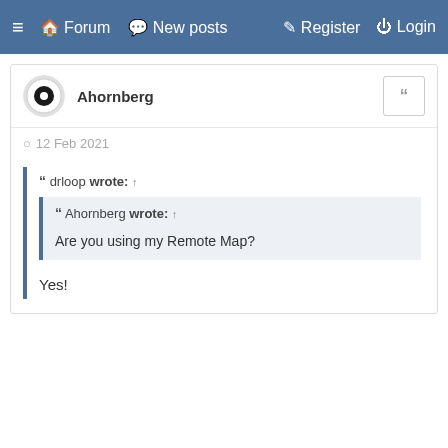≡ Forum  New posts  Register  Login
Ahornberg
12 Feb 2021
drloop wrote: ↑
Ahornberg wrote: ↑
Are you using my Remote Map?
Yes!